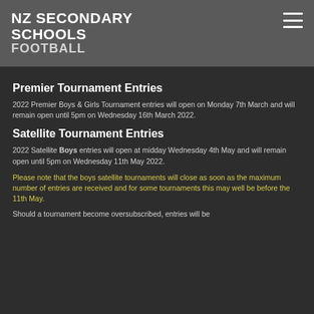NZ SECONDARY SCHOOLS FOOTBALL
Premier Tournament Entries
2022 Premier Boys & Girls Tournament entries will open on Monday 7th March and will remain open until 5pm on Wednesday 16th March 2022.
Satellite Tournament Entries
2022 Satellite Boys entries will open at midday Wednesday 4th May and will remain open until 5pm on Wednesday 11th May 2022.
Please note that the boys satellite tournaments will close as soon as the maximum number of entries are received and for some tournaments this may well be before the 11th May.
Should a tournament become oversubscribed, entries will be